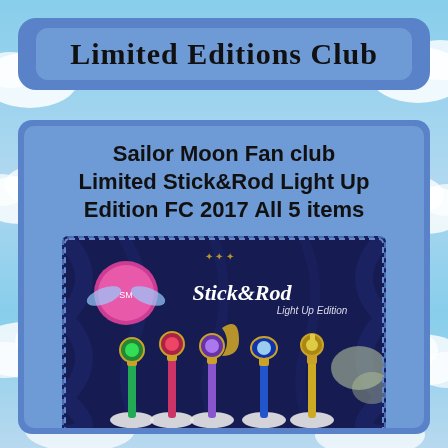Limited Editions Club
Sailor Moon Fan club Limited Stick&Rod Light Up Edition FC 2017 All 5 items
[Figure (photo): Product photo of Sailor Moon Fan club Limited Stick&Rod Light Up Edition showing 5 light-up wand/rod items displayed on a dark blue satin background with a crescent moon prop. Text overlay reads 'Stick&Rod Light Up Edition'. Items are green, red/pink, purple/blue, blue, and gold colored.]